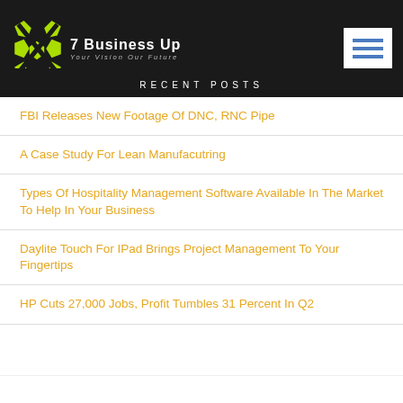7 Business Up — Your Vision Our Future
RECENT POSTS
FBI Releases New Footage Of DNC, RNC Pipe
A Case Study For Lean Manufacutring
Types Of Hospitality Management Software Available In The Market To Help In Your Business
Daylite Touch For IPad Brings Project Management To Your Fingertips
HP Cuts 27,000 Jobs, Profit Tumbles 31 Percent In Q2